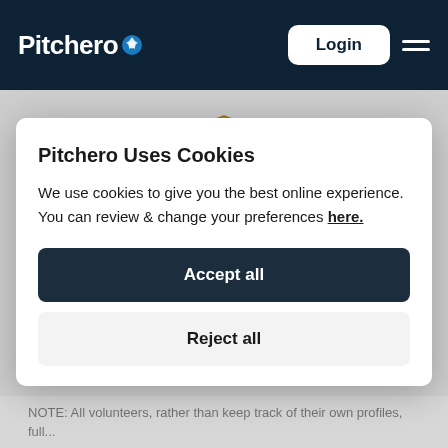Pitchero  Login
[Figure (logo): Club crest/badge: red and gold shield with football and cross]
Pitchero Uses Cookies
We use cookies to give you the best online experience. You can review & change your preferences here.
Accept all
Reject all